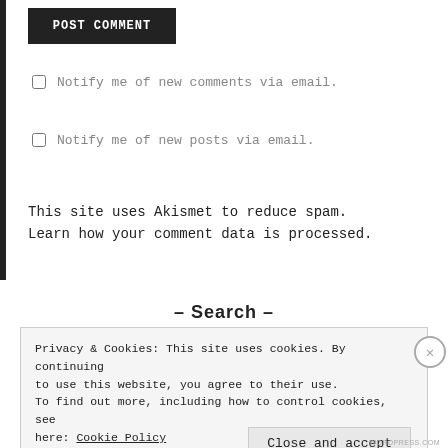POST COMMENT
Notify me of new comments via email.
Notify me of new posts via email.
This site uses Akismet to reduce spam. Learn how your comment data is processed.
– Search –
Privacy & Cookies: This site uses cookies. By continuing to use this website, you agree to their use. To find out more, including how to control cookies, see here: Cookie Policy
Close and accept
WORDPRESS.COM